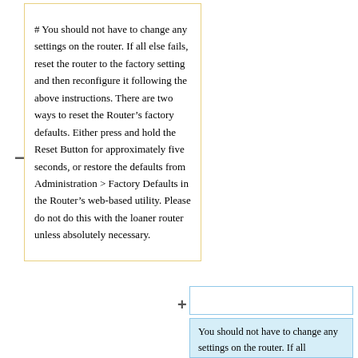# You should not have to change any settings on the router. If all else fails, reset the router to the factory setting and then reconfigure it following the above instructions. There are two ways to reset the Router’s factory defaults. Either press and hold the Reset Button for approximately five seconds, or restore the defaults from Administration > Factory Defaults in the Router’s web-based utility. Please do not do this with the loaner router unless absolutely necessary.
You should not have to change any settings on the router. If all